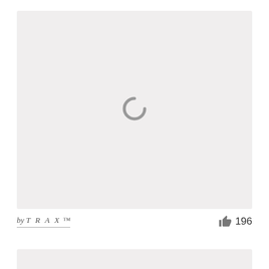[Figure (other): A light gray image placeholder box with a loading spinner icon (partial circle arc) centered in the upper portion of the page]
by TRAX ™
196
[Figure (other): A second light gray image placeholder card partially visible at the bottom of the page]